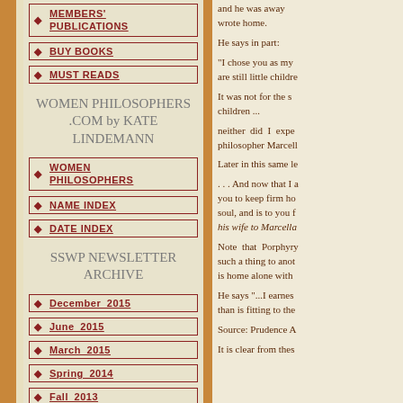MEMBERS' PUBLICATIONS
BUY BOOKS
MUST READS
WOMEN PHILOSOPHERS .COM by KATE LINDEMANN
WOMEN PHILOSOPHERS
NAME INDEX
DATE INDEX
SSWP NEWSLETTER ARCHIVE
December_2015
June_2015
March_2015
Spring_2014
Fall_2013
and he was away ... wrote home.
He says in part:
"I chose you as my ... are still little children
It was not for the s... children ...
neither did I expe... philosopher Marcell...
Later in this same le...
. . . And now that I a... you to keep firm ho... soul, and is to you f... his wife to Marcella...
Note that Porphyry... such a thing to anot... is home alone with ...
He says "...I earnes... than is fitting to the ...
Source: Prudence A...
It is clear from thes...